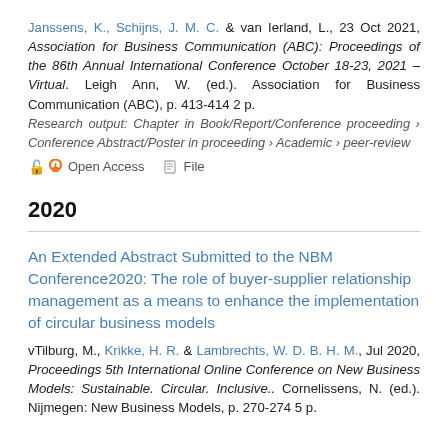Janssens, K., Schijns, J. M. C. & van Ierland, L., 23 Oct 2021, Association for Business Communication (ABC): Proceedings of the 86th Annual International Conference October 18-23, 2021 – Virtual. Leigh Ann, W. (ed.). Association for Business Communication (ABC), p. 413-414 2 p.
Research output: Chapter in Book/Report/Conference proceeding › Conference Abstract/Poster in proceeding › Academic › peer-review
Open Access   File
2020
An Extended Abstract Submitted to the NBM Conference2020: The role of buyer-supplier relationship management as a means to enhance the implementation of circular business models
vTilburg, M., Krikke, H. R. & Lambrechts, W. D. B. H. M., Jul 2020, Proceedings 5th International Online Conference on New Business Models: Sustainable. Circular. Inclusive.. Cornelissens, N. (ed.). Nijmegen: New Business Models, p. 270-274 5 p.